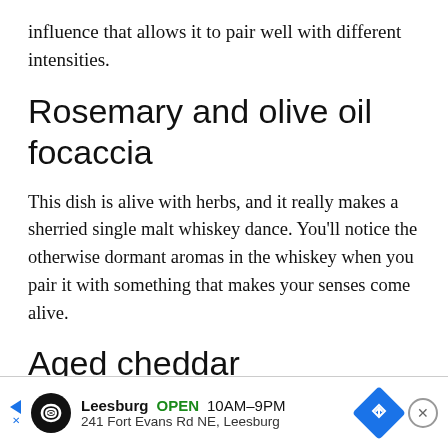influence that allows it to pair well with different intensities.
Rosemary and olive oil focaccia
This dish is alive with herbs, and it really makes a sherried single malt whiskey dance. You’ll notice the otherwise dormant aromas in the whiskey when you pair it with something that makes your senses come alive.
Aged cheddar
This dry, sharp cheese does a great job of drawing out the fruity, nutty flavors of the sherried single malt. You’ll notice the fruity flavors on the impact but the nutty
[Figure (other): Advertisement banner for Leesburg store: logo, OPEN 10AM-9PM, 241 Fort Evans Rd NE Leesburg, navigation arrow icon, close button]